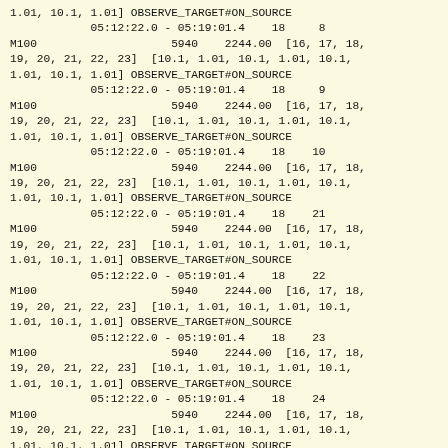1.01, 10.1, 1.01] OBSERVE_TARGET#ON_SOURCE
            05:12:22.0 - 05:19:01.4    18     8
M100                    5940    2244.00  [16, 17, 18,
19, 20, 21, 22, 23]  [10.1, 1.01, 10.1, 1.01, 10.1,
1.01, 10.1, 1.01] OBSERVE_TARGET#ON_SOURCE
            05:12:22.0 - 05:19:01.4    18     9
M100                    5940    2244.00  [16, 17, 18,
19, 20, 21, 22, 23]  [10.1, 1.01, 10.1, 1.01, 10.1,
1.01, 10.1, 1.01] OBSERVE_TARGET#ON_SOURCE
            05:12:22.0 - 05:19:01.4    18    10
M100                    5940    2244.00  [16, 17, 18,
19, 20, 21, 22, 23]  [10.1, 1.01, 10.1, 1.01, 10.1,
1.01, 10.1, 1.01] OBSERVE_TARGET#ON_SOURCE
            05:12:22.0 - 05:19:01.4    18    21
M100                    5940    2244.00  [16, 17, 18,
19, 20, 21, 22, 23]  [10.1, 1.01, 10.1, 1.01, 10.1,
1.01, 10.1, 1.01] OBSERVE_TARGET#ON_SOURCE
            05:12:22.0 - 05:19:01.4    18    22
M100                    5940    2244.00  [16, 17, 18,
19, 20, 21, 22, 23]  [10.1, 1.01, 10.1, 1.01, 10.1,
1.01, 10.1, 1.01] OBSERVE_TARGET#ON_SOURCE
            05:12:22.0 - 05:19:01.4    18    23
M100                    5940    2244.00  [16, 17, 18,
19, 20, 21, 22, 23]  [10.1, 1.01, 10.1, 1.01, 10.1,
1.01, 10.1, 1.01] OBSERVE_TARGET#ON_SOURCE
            05:12:22.0 - 05:19:01.4    18    24
M100                    5940    2244.00  [16, 17, 18,
19, 20, 21, 22, 23]  [10.1, 1.01, 10.1, 1.01, 10.1,
1.01, 10.1, 1.01] OBSERVE_TARGET#ON_SOURCE
            05:12:22.0 - 05:19:01.4    18    25
M100                    5940    2244.00  [16, 17, 18,
19, 20, 21, 22, 23]  [10.1, 1.01, 10.1, 1.01, 10.1,